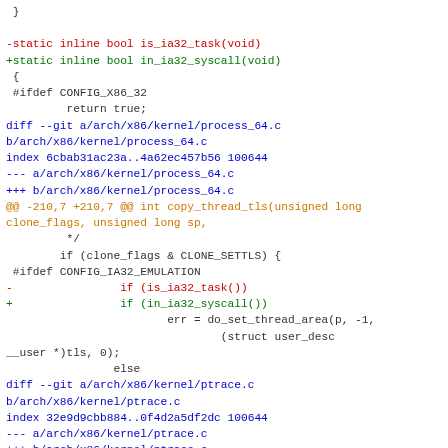[Figure (other): Source code diff showing changes to Linux kernel files, with colored lines indicating additions (+, green), removals (-, red), context (white/gray), and diff headers (blue/orange)]